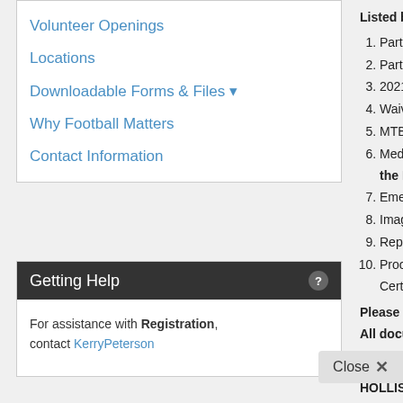Volunteer Openings
Locations
Downloadable Forms & Files
Why Football Matters
Contact Information
Getting Help
For assistance with Registration, contact KerryPeterson
Listed below are the f
1. Participation, T
2. Participation C
3. 2021 AYF Cod
4. Waiver & Rele
5. MTBI/Concuss
6. Medical Cleara the RESUME r
7. Emergency Me
8. Image Release
9. Report Card -
10. Proof of Age - Certificate or a
Please be sure to you All documents MUST
Kerry Peterson
HOLLISTON YOUTH F
92 Bogastow Brook R
Holliston, MA 01746
If you have questions r
Thank you!
Close